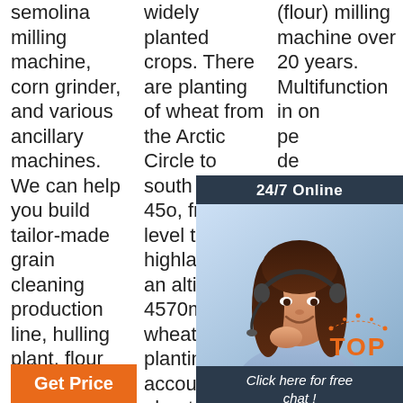semolina milling machine, corn grinder, and various ancillary machines. We can help you build tailor-made grain cleaning production line, hulling plant, flour milling plant and starch processing
widely planted crops. There are planting of wheat from the Arctic Circle to south latitude 45o, from sea level to highland with an altitude of 4570m. The wheat planting area accounts for about 31% of all the grain.
(flour) milling machine over 20 years. Multifunction in on pe de sk re gr gr cl are done in one machine.
[Figure (other): Customer service chat widget with 24/7 Online header, photo of woman with headset, 'Click here for free chat!' text, and QUOTATION orange button]
[Figure (other): TOP button with orange dotted arc and orange TOP text]
[Figure (other): Get Price orange button (column 1)]
[Figure (other): Get Price orange button (column 3)]